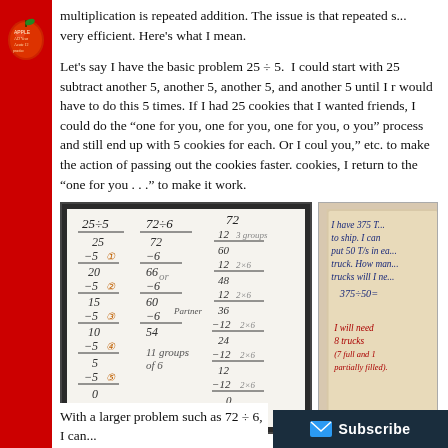[Figure (illustration): Left decorative strip with repeating apple/classroom graphics in red]
multiplication is repeated addition. The issue is that repeated s... very efficient. Here's what I mean.
Let's say I have the basic problem 25 ÷ 5. I could start with 25 subtract another 5, another 5, another 5, and another 5 until I r would have to do this 5 times. If I had 25 cookies that I wanted friends, I could do the "one for you, one for you, one for you, o you" process and still end up with 5 cookies for each. Or I coul you," etc. to make the action of passing out the cookies faster. cookies, I return to the "one for you . . ." to make it work.
[Figure (photo): Whiteboard showing long division problems: 25÷5, 72÷6, and 72 with repeated subtraction steps]
[Figure (photo): Handwritten card showing a word problem: 'I have 375 T... to ship. I can put 50 T/s in ea... truck. How man... trucks will I ne... 375÷50: ... I will need 8 trucks (7 full and 1 partially filled).']
With a larger problem such as 72 ÷ 6, I can...
[Figure (other): Subscribe button overlay in dark blue with email icon]